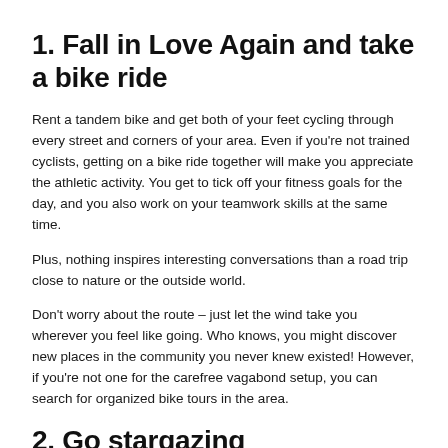1. Fall in Love Again and take a bike ride
Rent a tandem bike and get both of your feet cycling through every street and corners of your area. Even if you're not trained cyclists, getting on a bike ride together will make you appreciate the athletic activity. You get to tick off your fitness goals for the day, and you also work on your teamwork skills at the same time.
Plus, nothing inspires interesting conversations than a road trip close to nature or the outside world.
Don't worry about the route – just let the wind take you wherever you feel like going. Who knows, you might discover new places in the community you never knew existed! However, if you're not one for the carefree vagabond setup, you can search for organized bike tours in the area.
2. Go stargazing